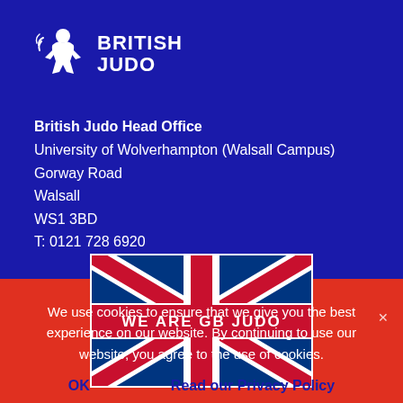[Figure (logo): British Judo logo with stylized athlete icon and BRITISH JUDO text in white on blue background]
British Judo Head Office
University of Wolverhampton (Walsall Campus)
Gorway Road
Walsall
WS1 3BD
T: 0121 728 6920
[Figure (illustration): Union Jack flag image with text WE ARE GB JUDO overlaid on a red banner across the centre]
We use cookies to ensure that we give you the best experience on our website. By continuing to use our website, you agree to the use of cookies.
OK    Read our Privacy Policy